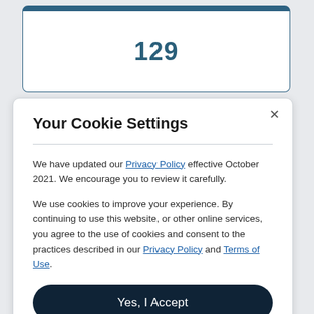129
Your Cookie Settings
We have updated our Privacy Policy effective October 2021. We encourage you to review it carefully.
We use cookies to improve your experience. By continuing to use this website, or other online services, you agree to the use of cookies and consent to the practices described in our Privacy Policy and Terms of Use.
Yes, I Accept